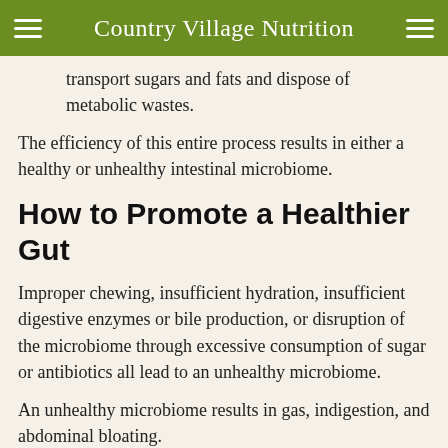Country Village Nutrition
transport sugars and fats and dispose of metabolic wastes.
The efficiency of this entire process results in either a healthy or unhealthy intestinal microbiome.
How to Promote a Healthier Gut
Improper chewing, insufficient hydration, insufficient digestive enzymes or bile production, or disruption of the microbiome through excessive consumption of sugar or antibiotics all lead to an unhealthy microbiome.
An unhealthy microbiome results in gas, indigestion, and abdominal bloating.